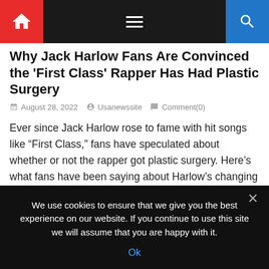Navigation bar with home icon, menu icon, and search icon
Why Jack Harlow Fans Are Convinced the 'First Class' Rapper Has Had Plastic Surgery
August 28, 2022   Usanewssite   Comment(0)
Ever since Jack Harlow rose to fame with hit songs like “First Class,” fans have speculated about whether or not the rapper got plastic surgery. Here’s what fans have been saying about Harlow’s changing looks online.  Jack Harlow | Nathan Congleton/NBC/NBCUniversal Jack Harlow found success with songs like ‘First Class’ “First Class” was released in […]
We use cookies to ensure that we give you the best experience on our website. If you continue to use this site we will assume that you are happy with it.
Ok